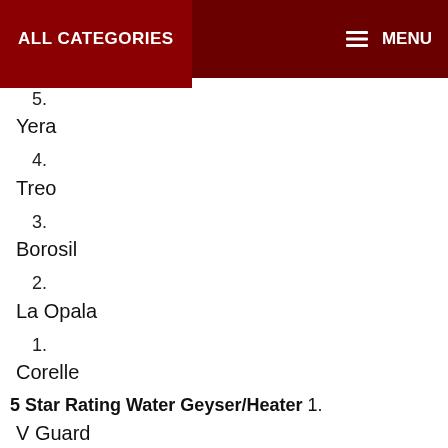ALL CATEGORIES   MENU
5.
Yera
4.
Treo
3.
Borosil
2.
La Opala
1.
Corelle
5 Star Rating Water Geyser/Heater 1.
V Guard
2.
AO Smith